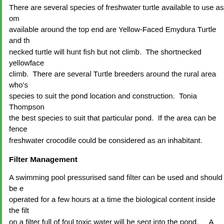There are several species of freshwater turtle available to use as om... available around the top end are Yellow-Faced Emydura Turtle and th... necked turtle will hunt fish but not climb. The shortnecked yellowface... climb. There are several Turtle breeders around the rural area who's... species to suit the pond location and construction. Tonia Thompson ... the best species to suit that particular pond. If the area can be fence... freshwater crocodile could be considered as an inhabitant.
Filter Management
A swimming pool pressurised sand filter can be used and should be e... operated for a few hours at a time the biological content inside the filt... on a filter full of foul toxic water will be sent into the pond. A biofilt... bed to be constant otherwise the aerobic beneficial bacteria die and t... consumption pumps that can be run continuously without breaking th... pond filters made for these special pumps.
Wildlife Drowning
If the edges of the pond are steep it prevents smaller animals from es... drown. If no turtles are to be kept it is recommended that some str...